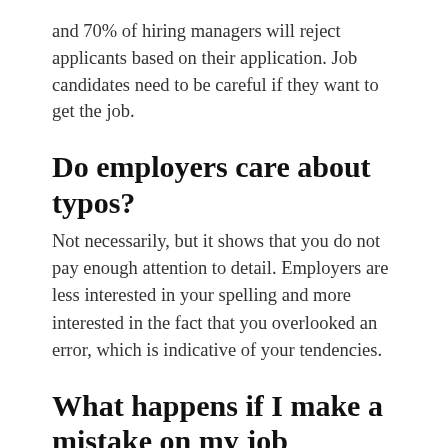and 70% of hiring managers will reject applicants based on their application. Job candidates need to be careful if they want to get the job.
Do employers care about typos?
Not necessarily, but it shows that you do not pay enough attention to detail. Employers are less interested in your spelling and more interested in the fact that you overlooked an error, which is indicative of your tendencies.
What happens if I make a mistake on my job